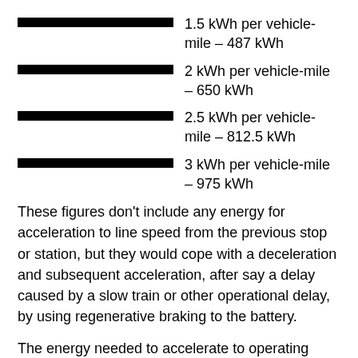1.5 kWh per vehicle-mile – 487 kWh
2 kWh per vehicle-mile – 650 kWh
2.5 kWh per vehicle-mile – 812.5 kWh
3 kWh per vehicle-mile – 975 kWh
These figures don't include any energy for acceleration to line speed from the previous stop or station, but they would cope with a deceleration and subsequent acceleration, after say a delay caused by a slow train or other operational delay, by using regenerative braking to the battery.
The energy needed to accelerate to operating speed, will be as I calculated earlier.
90 mph – 61 kWh
100 mph – 75 kWh